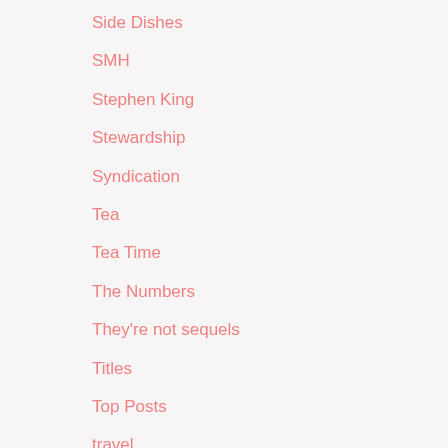Side Dishes
SMH
Stephen King
Stewardship
Syndication
Tea
Tea Time
The Numbers
They're not sequels
Titles
Top Posts
travel
Uncategorized
Valentine's Day